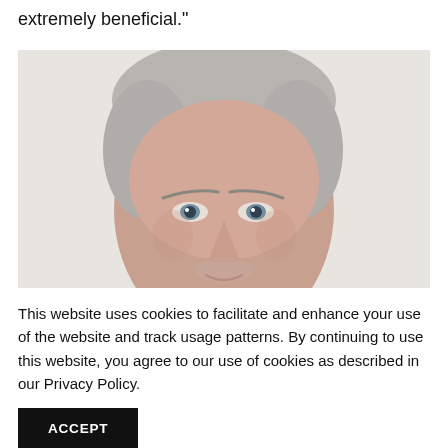extremely beneficial."
[Figure (photo): Close-up photo of a middle-aged man with gray-white hair, light skin, blue-gray eyes, looking slightly upward. White/light background. Only the upper half of the face and top of head visible.]
This website uses cookies to facilitate and enhance your use of the website and track usage patterns. By continuing to use this website, you agree to our use of cookies as described in our Privacy Policy.
ACCEPT